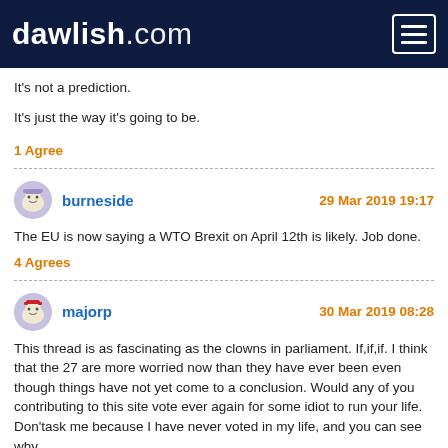dawlish.com
It's not a prediction.
It's just the way it's going to be.
1 Agree
burneside  29 Mar 2019 19:17
The EU is now saying a WTO Brexit on April 12th is likely.  Job done.
4 Agrees
majorp  30 Mar 2019 08:28
This thread is as fascinating as the clowns in parliament. If,if,if. I think that the 27 are more worried now than they have ever been even though things have not yet come to a conclusion. Would any of you contributing to this site vote ever again for some idiot to run your life. Don'task me because I have never voted in my life, and you can see why.
2 Agrees